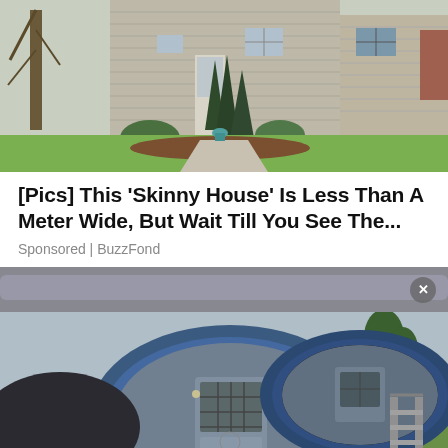[Figure (photo): Exterior photo of a beige/gray sided house with evergreen trees in front, green lawn, and neighboring house visible in background. Springtime setting.]
[Pics] This 'Skinny House' Is Less Than A Meter Wide, But Wait Till You See The...
Sponsored | BuzzFond
[Figure (photo): Photo of two large cylindrical barrel-shaped structures (blue and gray) converted into living spaces with small windows and doors, set on a hillside with metal stairs on the right side and green trees in background.]